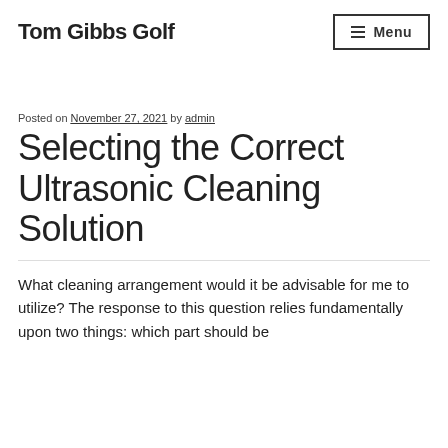Tom Gibbs Golf
Posted on November 27, 2021 by admin
Selecting the Correct Ultrasonic Cleaning Solution
What cleaning arrangement would it be advisable for me to utilize? The response to this question relies fundamentally upon two things: which part should be